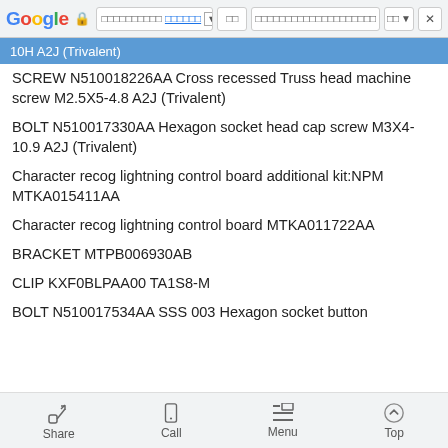Google browser bar with URL
10H A2J (Trivalent)
SCREW N510018226AA Cross recessed Truss head machine screw M2.5X5-4.8 A2J (Trivalent)
BOLT N510017330AA Hexagon socket head cap screw M3X4-10.9 A2J (Trivalent)
Character recog lightning control board additional kit:NPM MTKA015411AA
Character recog lightning control board MTKA011722AA
BRACKET MTPB006930AB
CLIP KXF0BLPAA00 TA1S8-M
BOLT N510017534AA SSS 003 Hexagon socket button
Share | Call | Menu | Top